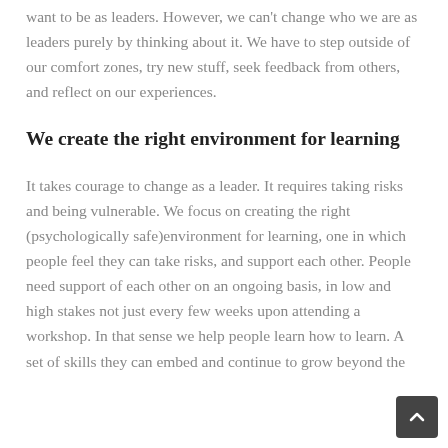want to be as leaders. However, we can't change who we are as leaders purely by thinking about it. We have to step outside of our comfort zones, try new stuff, seek feedback from others, and reflect on our experiences.
We create the right environment for learning
It takes courage to change as a leader. It requires taking risks and being vulnerable. We focus on creating the right (psychologically safe)environment for learning, one in which people feel they can take risks, and support each other. People need support of each other on an ongoing basis, in low and high stakes not just every few weeks upon attending a workshop. In that sense we help people learn how to learn. A set of skills they can embed and continue to grow beyond the